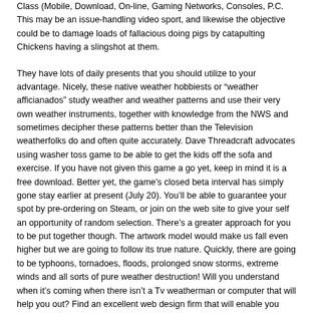Class (Mobile, Download, On-line, Gaming Networks, Consoles, P.C. This may be an issue-handling video sport, and likewise the objective could be to damage loads of fallacious doing pigs by catapulting Chickens having a slingshot at them.
They have lots of daily presents that you should utilize to your advantage. Nicely, these native weather hobbiests or “weather afficianados” study weather and weather patterns and use their very own weather instruments, together with knowledge from the NWS and sometimes decipher these patterns better than the Television weatherfolks do and often quite accurately. Dave Threadcraft advocates using washer toss game to be able to get the kids off the sofa and exercise. If you have not given this game a go yet, keep in mind it is a free download. Better yet, the game’s closed beta interval has simply gone stay earlier at present (July 20). You’ll be able to guarantee your spot by pre-ordering on Steam, or join on the web site to give your self an opportunity of random selection. There’s a greater approach for you to be put together though. The artwork model would make us fall even higher but we are going to follow its true nature. Quickly, there are going to be typhoons, tornadoes, floods, prolonged snow storms, extreme winds and all sorts of pure weather destruction! Will you understand when it’s coming when there isn’t a Tv weatherman or computer that will help you out? Find an excellent web design firm that will enable you revitalize your webpage and enhance what